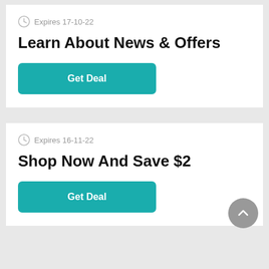Expires 17-10-22
Learn About News & Offers
Get Deal
Expires 16-11-22
Shop Now And Save $2
Get Deal